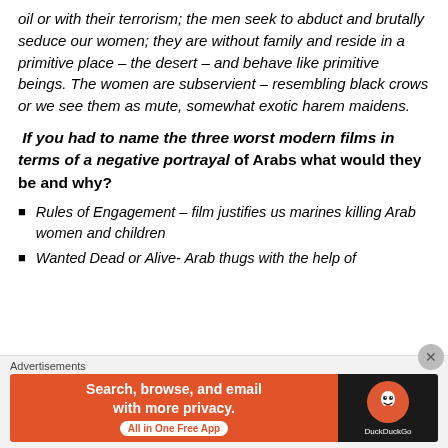oil or with their terrorism; the men seek to abduct and brutally seduce our women; they are without family and reside in a primitive place – the desert – and behave like primitive beings. The women are subservient – resembling black crows or we see them as mute, somewhat exotic harem maidens.
If you had to name the three worst modern films in terms of a negative portrayal of Arabs what would they be and why?
Rules of Engagement – film justifies us marines killing Arab women and children
Wanted Dead or Alive- Arab thugs with the help of
Advertisements